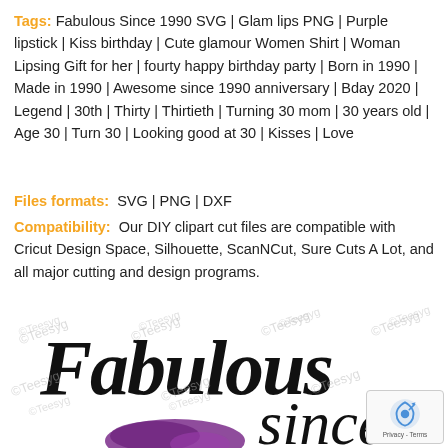Tags: Fabulous Since 1990 SVG | Glam lips PNG | Purple lipstick | Kiss birthday | Cute glamour Women Shirt | Woman Lipsing Gift for her | fourty happy birthday party | Born in 1990 | Made in 1990 | Awesome since 1990 anniversary | Bday 2020 | Legend | 30th | Thirty | Thirtieth | Turning 30 mom | 30 years old | Age 30 | Turn 30 | Looking good at 30 | Kisses | Love
Files formats:  SVG | PNG | DXF
Compatibility:  Our DIY clipart cut files are compatible with Cricut Design Space, Silhouette, ScanNCut, Sure Cuts A Lot, and all major cutting and design programs.
[Figure (illustration): Decorative SVG product preview showing 'Fabulous since' in large script/cursive font on white background with repeated ©Teesyg watermarks and a purple lipstick graphic element partially visible at bottom]